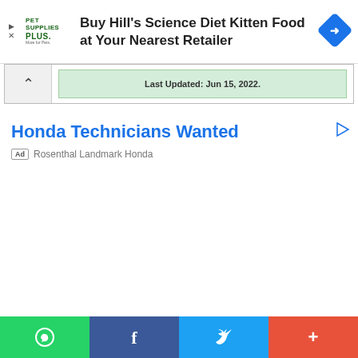[Figure (other): Pet Supplies Plus advertisement banner: Buy Hill's Science Diet Kitten Food at Your Nearest Retailer, with navigation diamond icon]
Last Updated: Jun 15, 2022.
Honda Technicians Wanted
Ad  Rosenthal Landmark Honda
[Figure (other): Social share bar with WhatsApp, Facebook, Twitter, and more buttons]